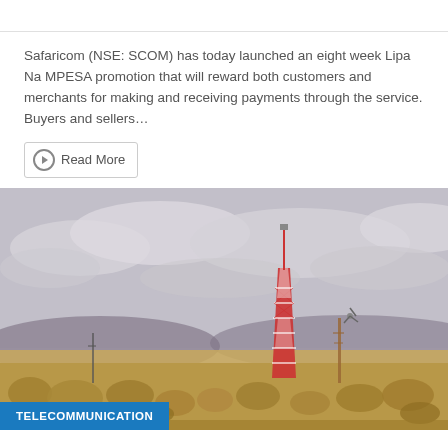Safaricom (NSE: SCOM) has today launched an eight week Lipa Na MPESA promotion that will reward both customers and merchants for making and receiving payments through the service. Buyers and sellers…
Read More
[Figure (photo): Outdoor photograph of a rural landscape with a tall red and white telecommunications tower in the center-right, smaller antenna structures visible, hay bales and rocky terrain in the foreground, cloudy sky in the background. A blue 'TELECOMMUNICATION' label badge overlays the bottom-left corner.]